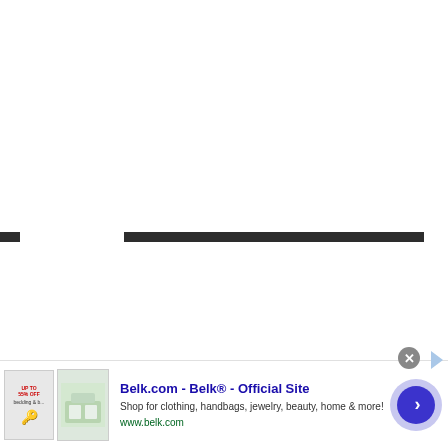[Figure (other): Mostly white/blank page area with two dark horizontal bars positioned at roughly the vertical midpoint. One short bar on the left and one long bar extending across most of the page width.]
[Figure (screenshot): Advertisement banner at the bottom of the page for Belk.com. Contains close button (X), ad indicator arrow, thumbnail images of products, Belk.com title text, description text, URL, and a circular blue call-to-action button with right arrow.]